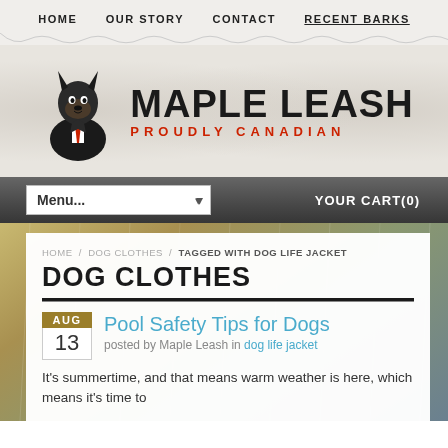HOME   OUR STORY   CONTACT   RECENT BARKS
[Figure (logo): Maple Leash logo with doberman dog mascot in suit and red tie, text reads MAPLE LEASH PROUDLY CANADIAN]
Menu... YOUR CART(0)
HOME / DOG CLOTHES / TAGGED WITH DOG LIFE JACKET
DOG CLOTHES
Pool Safety Tips for Dogs
posted by Maple Leash in dog life jacket
It's summertime, and that means warm weather is here, which means it's time to